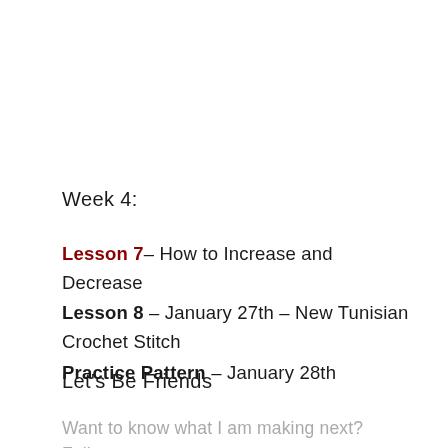Week 4:
Lesson 7– How to Increase and Decrease
Lesson 8 – January 27th – New Tunisian Crochet Stitch
Practice Pattern – January 28th
Let's Be Friends
Want to know what I am making next? Follow me on Instagram @windingroadcrochet to see